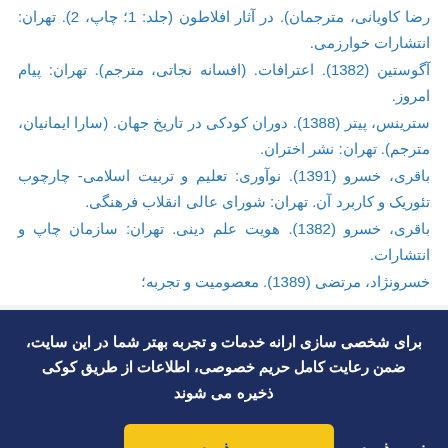رضا کاویانی، مترجمان). در آثار افلاطون (جلد: 1؛ چاپ، 2). تهران: انتشارات خوارزمی.
آگوستین (1382). اعترافات. (افسانه نجاتی، مترجم). تهران: پیام امروز.
سترینس، پیتر (1388). دوران کودکی در تاریخ جهان. (سارا ایمانیان، مترجم). تهران: نشر اختران.
باقری، خسرو (1391). نوآوری: تعلیم و تربیت اسلامی- چارچوب تئوریک و کاربرد آن. تهران: شورای عالی انقلاب فرهنگی.
باقری، خسرو (1382). هویت علم دینی. تهران: سازمان چاپ و انتشارات.
خسرونژاد، مرتضی (1389). معصومیت و تجربه؛
برای شخصی سازی ارانه خدمات و تجربه بهتر شما در این سایت، ضمن رعایت کامل حریم خصوصی، اطلاعات از طریق کوکی ذخیره می شوند
می‌پذیرم
نمی‌پذیرم